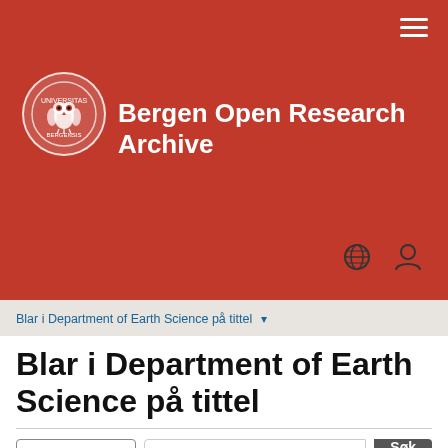[Figure (logo): Bergen Open Research Archive logo with University of Bergen crest (owl) in white circle on red background]
Bergen Open Research Archive
Blar i Department of Earth Science på tittel ▾
Blar i Department of Earth Science på tittel
Viser treff 257-276 av 869
Generation of intermediate-depth earthquakes and